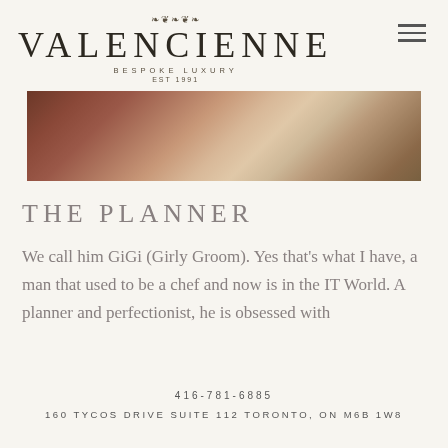VALENCIENNE — BESPOKE LUXURY EST 1991
[Figure (photo): Close-up photo of a wedding dress hem/train on a wooden floor, showing lace and fabric details]
THE PLANNER
We call him GiGi (Girly Groom). Yes that's what I have, a man that used to be a chef and now is in the IT World. A planner and perfectionist, he is obsessed with
416-781-6885
160 TYCOS DRIVE SUITE 112 TORONTO, ON M6B 1W8